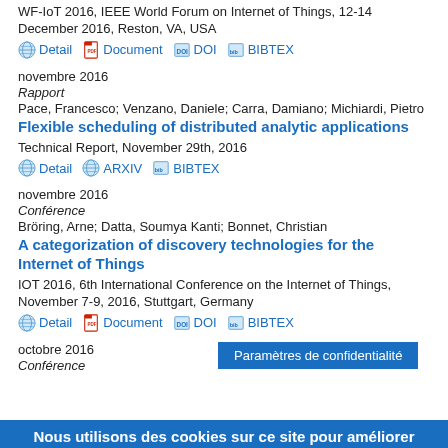WF-IoT 2016, IEEE World Forum on Internet of Things, 12-14 December 2016, Reston, VA, USA
Detail  Document  DOI  BIBTEX
novembre 2016
Rapport
Pace, Francesco; Venzano, Daniele; Carra, Damiano; Michiardi, Pietro
Flexible scheduling of distributed analytic applications
Technical Report, November 29th, 2016
Detail  ARXIV  BIBTEX
novembre 2016
Conférence
Bröring, Arne; Datta, Soumya Kanti; Bonnet, Christian
A categorization of discovery technologies for the Internet of Things
IOT 2016, 6th International Conference on the Internet of Things, November 7-9, 2016, Stuttgart, Germany
Detail  Document  DOI  BIBTEX
octobre 2016
Conférence
Nous utilisons des cookies sur ce site pour améliorer